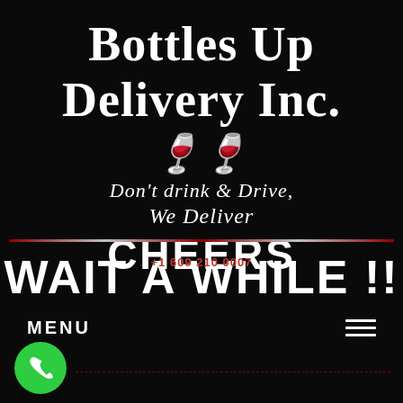Bottles Up Delivery Inc.
Don't drink & Drive, We Deliver
CHEERS
WAIT A WHILE !!
+1 609 210 0007
MENU
[Figure (illustration): Green phone call button icon at bottom left, with two clinking wine glasses emoji in center of design]